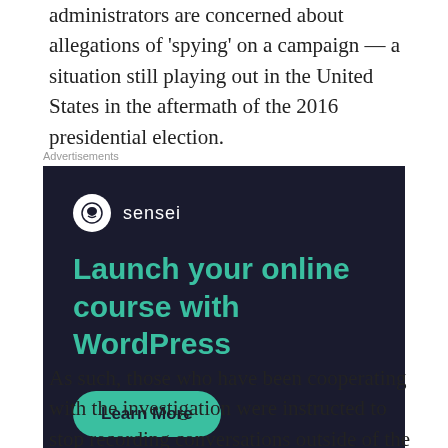administrators are concerned about allegations of 'spying' on a campaign — a situation still playing out in the United States in the aftermath of the 2016 presidential election.
[Figure (other): Advertisement for Sensei — 'Launch your online course with WordPress' with a teal Learn More button and Powered by WordPress.com footer on a dark navy background.]
As such, those who have been cooperating with the investigation were instructed to stop recording conversations outside of the PMO between September 11 and October 21, in an effort to avoid capturing anything